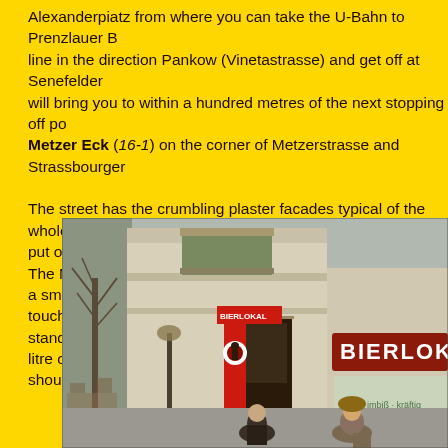Alexanderpiatz from where you can take the U-Bahn to Prenzlauer Berg. Take the U2 line in the direction Pankow (Vinetastrasse) and get off at Senefelderplatz. This will bring you to within a hundred metres of the next stopping off point, the Metzer Eck (16-1) on the corner of Metzerstrasse and Strassbourger Strasse.

The street has the crumbling plaster facades typical of the whole area. Don't be put off by the apparent delapidation, for this is the real Berlin. The Metzer Eck is a small private pub, with a few more personal decorative touches than the more standard HO bars, but with the same low prices. Here half a litre of beer should cost you just over 1M.
[Figure (photo): Street-level photo of a corner building in Prenzlauer Berg, Berlin. The building has classical plaster facade with ornate cornices. A sign reading 'BIERLOKAL' is visible on the right side. Red banners hang in the doorway area. People are visible on the street in front. Bare winter trees are visible on the left.]